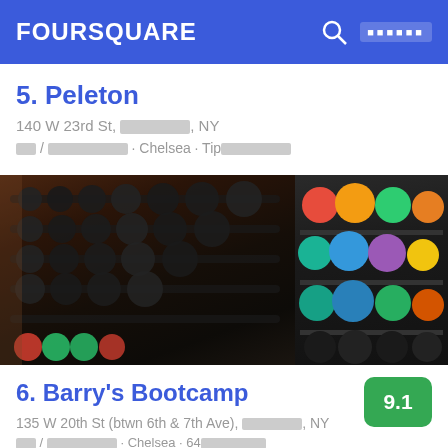FOURSQUARE
5. Peleton
140 W 23rd St, [redacted], NY
[redacted] / [redacted] · Chelsea · Tip[redacted]
[Figure (photo): Photo of a gym showing dumbbell racks and medicine balls on the left side, colorful medicine balls on the right side]
6. Barry's Bootcamp
9.1
135 W 20th St (btwn 6th & 7th Ave), [redacted], NY
[redacted] / [redacted] · Chelsea · 64[redacted]
Amber: Best workout in the world!